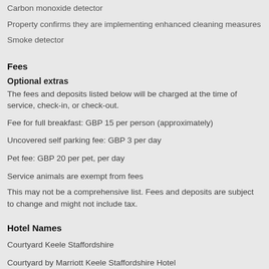Carbon monoxide detector
Property confirms they are implementing enhanced cleaning measures
Smoke detector
Fees
Optional extras
The fees and deposits listed below will be charged at the time of service, check-in, or check-out.
Fee for full breakfast: GBP 15 per person (approximately)
Uncovered self parking fee: GBP 3 per day
Pet fee: GBP 20 per pet, per day
Service animals are exempt from fees
This may not be a comprehensive list. Fees and deposits are subject to change and might not include tax.
Hotel Names
Courtyard Keele Staffordshire
Courtyard by Marriott Keele Staffordshire Hotel
Courtyard by Marriott Keele Staffordshire Newcastle-Under-Lyme